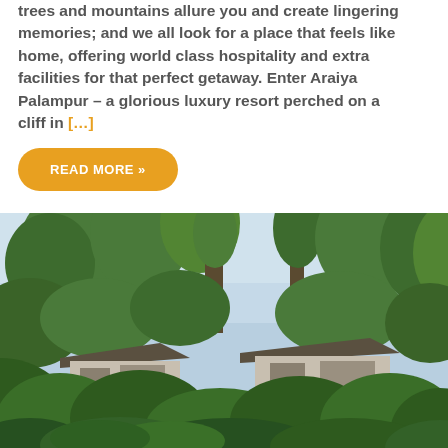trees and mountains allure you and create lingering memories; and we all look for a place that feels like home, offering world class hospitality and extra facilities for that perfect getaway. Enter Araiya Palampur – a glorious luxury resort perched on a cliff in [...]
READ MORE »
[Figure (photo): Outdoor photograph of a luxury resort nestled among tall trees and lush tropical/mountain vegetation. Two low-rise buildings with dark sloped roofs are visible among dense green foliage under a partly cloudy sky.]